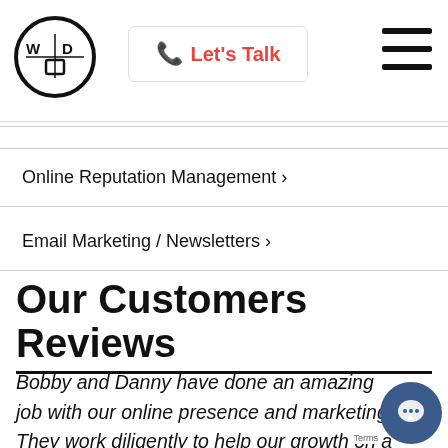[Figure (logo): Circular logo with W and D letters and small icons inside, black circle border]
📞 Let's Talk
[Figure (other): Hamburger menu icon with three horizontal lines]
Online Reputation Management >
Email Marketing / Newsletters >
Our Customers Reviews
Bobby and Danny have done an amazing job with our online presence and marketing. They work diligently to help our growth on a daily basis. seen our calls and sales increase month after month. They are on the cutting edge of